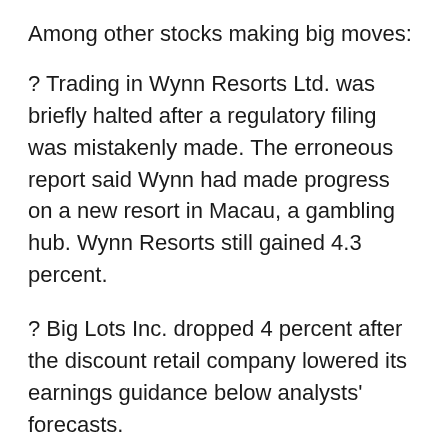Among other stocks making big moves:
? Trading in Wynn Resorts Ltd. was briefly halted after a regulatory filing was mistakenly made. The erroneous report said Wynn had made progress on a new resort in Macau, a gambling hub. Wynn Resorts still gained 4.3 percent.
? Big Lots Inc. dropped 4 percent after the discount retail company lowered its earnings guidance below analysts' forecasts.
? Genesco Inc. gained 4.3 percent. The clothing company raised its 2013 earnings outlook above analysts' estimates. Genesco also reported quarterly earnings that topped expectations.